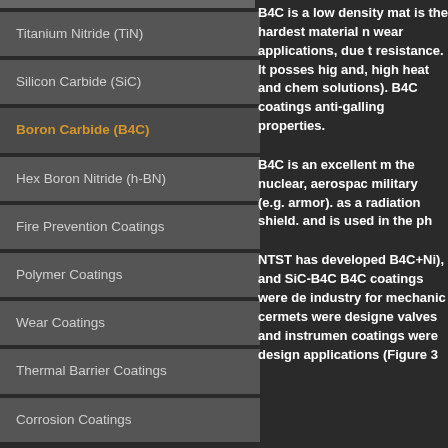Titanium Nitride (TiN)
Silicon Carbide (SiC)
Boron Carbide (B4C)
Hex Boron Nitride (h-BN)
Fire Prevention Coatings
Polymer Coatings
Wear Coatings
Thermal Barrier Coatings
Corrosion Coatings
B4C is a low density mat is the hardest material n wear applications, due t resistance. It posses hig and, high heat and chem solutions). B4C coatings anti-galling properties.
B4C is an excellent m the nuclear, aerospac military (e.g. armor). as a radiation shield. and is used in the ph
NTST has developed B4C+Ni), and SiC-B4C B4C coatings were de industry for mechanic cermets were designe valves and instrumen coatings were design applications (Figure 3